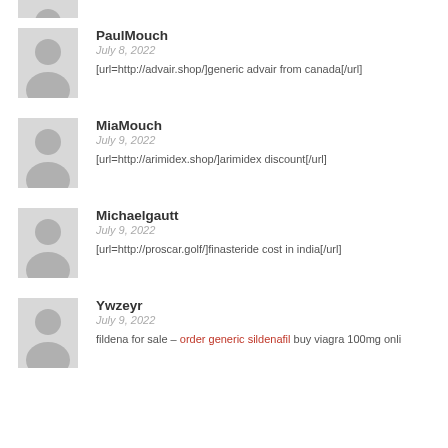[Figure (illustration): Partial avatar silhouette (cropped at top)]
PaulMouch
July 8, 2022
[url=http://advair.shop/]generic advair from canada[/url]
[Figure (illustration): Gray avatar silhouette placeholder]
MiaMouch
July 9, 2022
[url=http://arimidex.shop/]arimidex discount[/url]
[Figure (illustration): Gray avatar silhouette placeholder]
Michaelgautt
July 9, 2022
[url=http://proscar.golf/]finasteride cost in india[/url]
[Figure (illustration): Gray avatar silhouette placeholder]
Ywzeyr
July 9, 2022
fildena for sale – order generic sildenafil buy viagra 100mg onli...